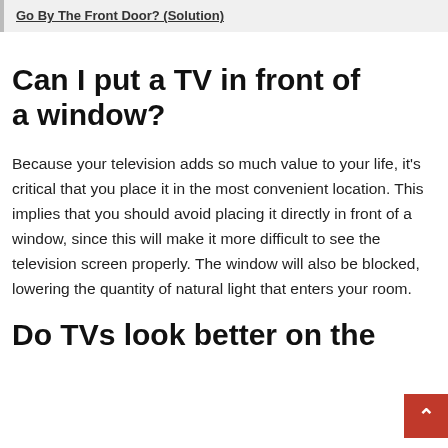Go By The Front Door? (Solution)
Can I put a TV in front of a window?
Because your television adds so much value to your life, it's critical that you place it in the most convenient location. This implies that you should avoid placing it directly in front of a window, since this will make it more difficult to see the television screen properly. The window will also be blocked, lowering the quantity of natural light that enters your room.
Do TVs look better on the